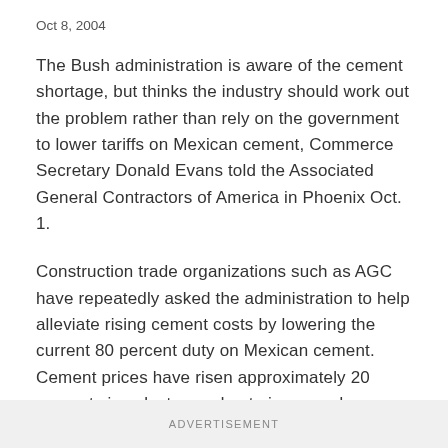Oct 8, 2004
The Bush administration is aware of the cement shortage, but thinks the industry should work out the problem rather than rely on the government to lower tariffs on Mexican cement, Commerce Secretary Donald Evans told the Associated General Contractors of America in Phoenix Oct. 1.
Construction trade organizations such as AGC have repeatedly asked the administration to help alleviate rising cement costs by lowering the current 80 percent duty on Mexican cement. Cement prices have risen approximately 20 percent since last year due to increased construction activity.
ADVERTISEMENT